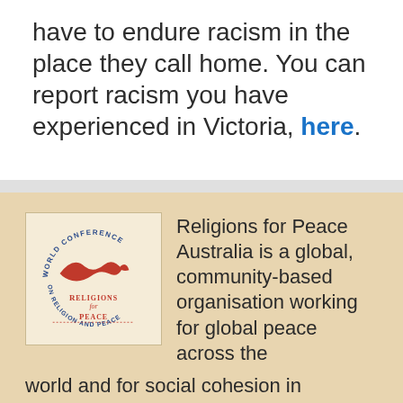have to endure racism in the place they call home. You can report racism you have experienced in Victoria, here.
[Figure (logo): World Conference Religions for Peace logo — circular text reading WORLD CONFERENCE around the top and ON RELIGION AND PEACE around the bottom, with a red swooping bird/wave symbol in the center and RELIGIONS for PEACE text below it.]
Religions for Peace Australia is a global, community-based organisation working for global peace across the world and for social cohesion in Australia in other countries, and for peace and co-operation between the religions of the